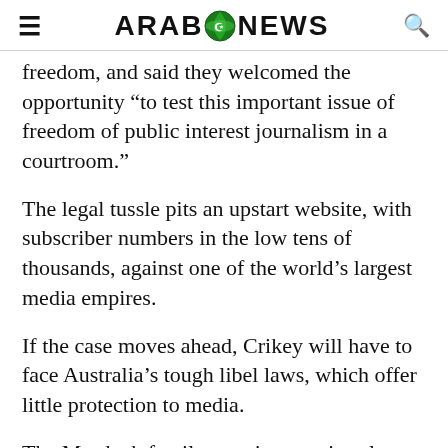ARAB NEWS
freedom, and said they welcomed the opportunity “to test this important issue of freedom of public interest journalism in a courtroom.”
The legal tussle pits an upstart website, with subscriber numbers in the low tens of thousands, against one of the world’s largest media empires.
If the case moves ahead, Crikey will have to face Australia’s tough libel laws, which offer little protection to media.
The Murdoch family remains a major player in the Australian media, despite its global expansion into the United States and Britain.
Fox Corporation declined to comment